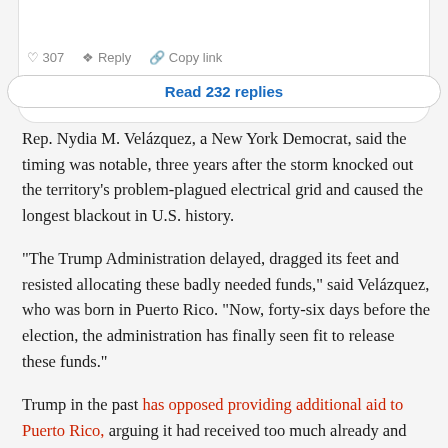[Figure (screenshot): Top of a social media comment card showing interaction icons (like 307, Reply, Copy link) and a 'Read 232 replies' button]
Rep. Nydia M. Velázquez, a New York Democrat, said the timing was notable, three years after the storm knocked out the territory's problem-plagued electrical grid and caused the longest blackout in U.S. history.
“The Trump Administration delayed, dragged its feet and resisted allocating these badly needed funds,” said Velázquez, who was born in Puerto Rico. “Now, forty-six days before the election, the administration has finally seen fit to release these funds.”
Trump in the past has opposed providing additional aid to Puerto Rico, arguing it had received too much already and expressing concern that the money would be wasted or